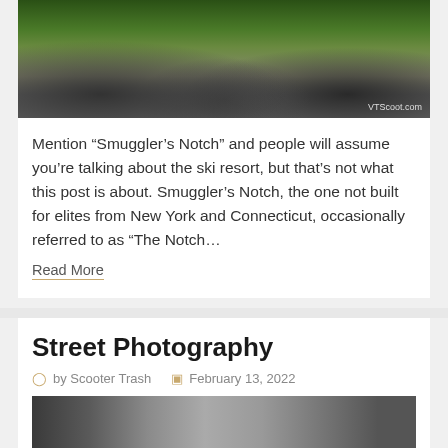[Figure (photo): Outdoor parking area with cars and people, trees in background. Watermark: VTScoot.com]
Mention “Smuggler’s Notch” and people will assume you’re talking about the ski resort, but that’s not what this post is about. Smuggler’s Notch, the one not built for elites from New York and Connecticut, occasionally referred to as “The Notch…
Read More
Street Photography
by Scooter Trash   February 13, 2022
[Figure (photo): Partial view of a street photography image at bottom of page]